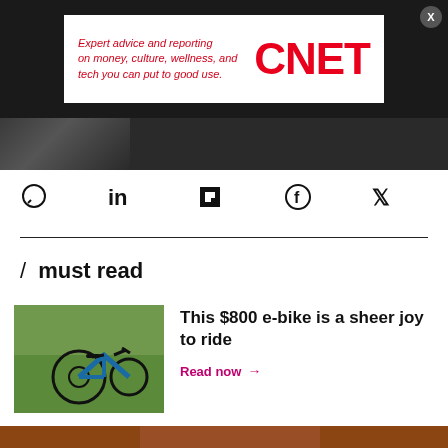[Figure (other): CNET advertisement banner with text 'Expert advice and reporting on money, culture, wellness, and tech you can put to good use.' and red CNET logo on white background, set against dark background with X close button]
[Figure (photo): Partial dark image strip visible below the ad banner]
[Figure (other): Social sharing icons: comment bubble, LinkedIn, Flipboard, Facebook, Twitter]
/ must read
[Figure (photo): Blue folding e-bike on grass]
This $800 e-bike is a sheer joy to ride
Read now →
[Figure (photo): Person in orange/rust clothing holding a tablet or document, partially visible at bottom of page]